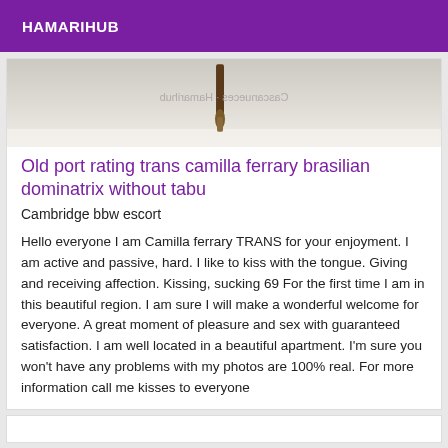HAMARIHUB
[Figure (photo): A close-up photo of a brush or makeup tool on a light textured surface with a partially visible watermark text mirrored.]
Old port rating trans camilla ferrary brasilian dominatrix without tabu
Cambridge bbw escort
Hello everyone I am Camilla ferrary TRANS for your enjoyment. I am active and passive, hard. I like to kiss with the tongue. Giving and receiving affection. Kissing, sucking 69 For the first time I am in this beautiful region. I am sure I will make a wonderful welcome for everyone. A great moment of pleasure and sex with guaranteed satisfaction. I am well located in a beautiful apartment. I'm sure you won't have any problems with my photos are 100% real. For more information call me kisses to everyone